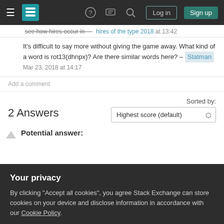Stack Exchange navigation bar with hamburger menu, logo, help icon, chat icon, search icon, Log in button, Sign up button
see how hires occur in — [link] Mar 23, 2018 at 13:42
It's difficult to say more without giving the game away. What kind of a word is rot13(dhnpx)? Are there similar words here? – Statman Mar 23, 2018 at 14:17
Add a comment
2 Answers
Sorted by:
Highest score (default)
Potential answer:
Your privacy
By clicking "Accept all cookies", you agree Stack Exchange can store cookies on your device and disclose information in accordance with our Cookie Policy.
Accept all cookies
Customize settings
more specifically: